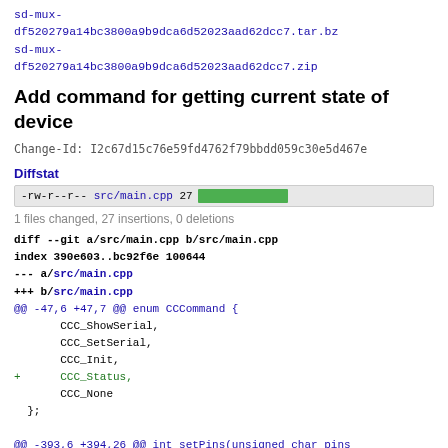sd-mux-df520279a14bc3800a9b9dca6d52023aad62dcc7.tar.bz
sd-mux-df520279a14bc3800a9b9dca6d52023aad62dcc7.zip
Add command for getting current state of device
Change-Id: I2c67d15c76e59fd4762f79bbdd059c30e5d467e
Diffstat
-rw-r--r-- src/main.cpp 27 [bar]
1 files changed, 27 insertions, 0 deletions
diff --git a/src/main.cpp b/src/main.cpp
index 390e603..bc92f6e 100644
--- a/src/main.cpp
+++ b/src/main.cpp
@@ -47,6 +47,7 @@ enum CCCommand {
        CCC_ShowSerial,
        CCC_SetSerial,
        CCC_Init,
+      CCC_Status,
        CCC_None
  };

@@ -393,6 +394,26 @@ int setPins(unsigned char pins
        return ret;